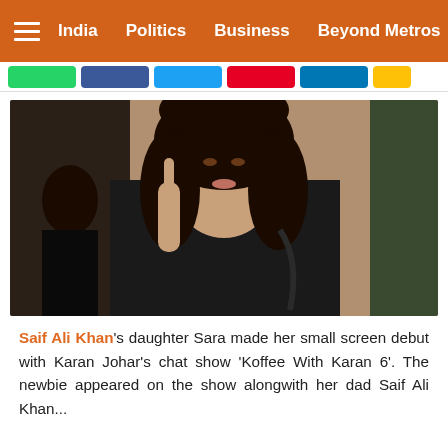India  Politics  Business  Beyond Metros
[Figure (photo): Young woman in black outfit raising one finger, photographed indoors with another person visible in the background]
Saif Ali Khan's daughter Sara made her small screen debut with Karan Johar's chat show 'Koffee With Karan 6'. The newbie appeared on the show alongwith her dad Saif Ali Khan...